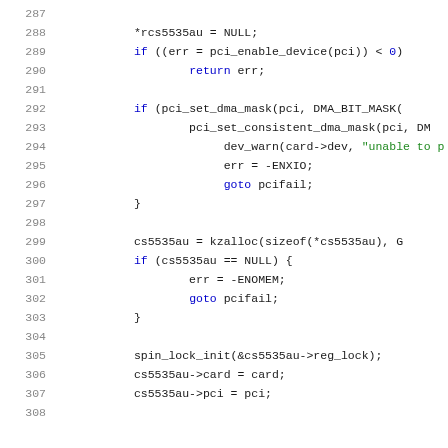[Figure (screenshot): Source code snippet in C showing lines 287-307 of a Linux kernel driver file. The code includes null pointer assignment, PCI device initialization, DMA mask setup, memory allocation with kzalloc, and spin lock initialization. Syntax highlighting: keywords in blue, string literals in green, rest in dark/black.]